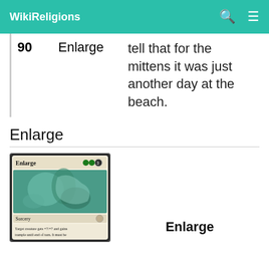WikiReligions
| 90 | Enlarge | tell that for the mittens it was just another day at the beach. |
Enlarge
[Figure (photo): Magic: The Gathering card titled 'Enlarge' showing a creature underwater scene, labeled as Sorcery with text 'Target creature gets +7/+7 and gains trample until end of turn. It must be']
Enlarge